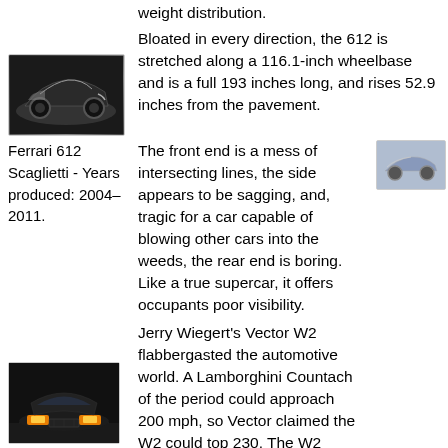weight distribution.
[Figure (photo): Ferrari 612 Scaglietti car photo, dark sports car viewed from front-side angle]
Bloated in every direction, the 612 is stretched along a 116.1-inch wheelbase and is a full 193 inches long, and rises 52.9 inches from the pavement.
Ferrari 612 Scaglietti - Years produced: 2004–2011.
[Figure (photo): Small photo of a sports car, silver/blue, viewed from side]
The front end is a mess of intersecting lines, the side appears to be sagging, and, tragic for a car capable of blowing other cars into the weeds, the rear end is boring. Like a true supercar, it offers occupants poor visibility.
[Figure (photo): Vector W2 car photo, dark front view with orange/yellow headlights]
Jerry Wiegert's Vector W2 flabbergasted the automotive world. A Lamborghini Countach of the period could approach 200 mph, so Vector claimed the W2 could top 230. The W2 never cracked its claimed target speed, perhaps because the severely dated styling conceals a pedestrian GM small-block V-8,
[Figure (photo): Small photo of a car, light colored, viewed from side]